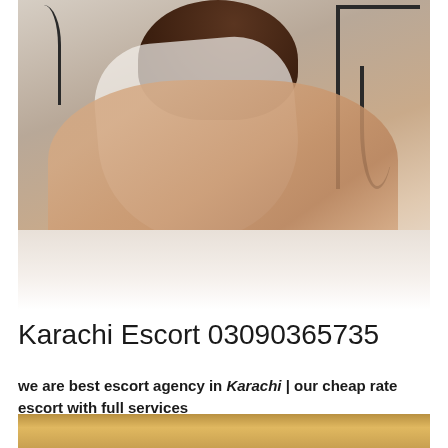[Figure (photo): A woman in a white knit top posing on white bed sheets, with dark headboard visible in background.]
Karachi Escort 03090365735
we are best escort agency in Karachi | our cheap rate escort with full services
[Figure (photo): Partial bottom strip showing another image beginning to appear.]